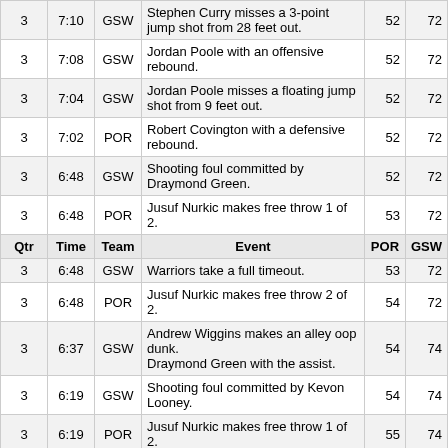| Qtr | Time | Team | Event | POR | GSW |
| --- | --- | --- | --- | --- | --- |
| 3 | 7:10 | GSW | Stephen Curry misses a 3-point jump shot from 28 feet out. | 52 | 72 |
| 3 | 7:08 | GSW | Jordan Poole with an offensive rebound. | 52 | 72 |
| 3 | 7:04 | GSW | Jordan Poole misses a floating jump shot from 9 feet out. | 52 | 72 |
| 3 | 7:02 | POR | Robert Covington with a defensive rebound. | 52 | 72 |
| 3 | 6:48 | GSW | Shooting foul committed by Draymond Green. | 52 | 72 |
| 3 | 6:48 | POR | Jusuf Nurkic makes free throw 1 of 2. | 53 | 72 |
| Qtr | Time | Team | Event | POR | GSW |
| 3 | 6:48 | GSW | Warriors take a full timeout. | 53 | 72 |
| 3 | 6:48 | POR | Jusuf Nurkic makes free throw 2 of 2. | 54 | 72 |
| 3 | 6:37 | GSW | Andrew Wiggins makes an alley oop dunk. Draymond Green with the assist. | 54 | 74 |
| 3 | 6:19 | GSW | Shooting foul committed by Kevon Looney. | 54 | 74 |
| 3 | 6:19 | POR | Jusuf Nurkic makes free throw 1 of 2. | 55 | 74 |
| 3 | 6:19 | POR | Jusuf Nurkic makes free throw 2 of 2. | 56 | 74 |
| 3 | 6:03 | GSW | Stephen Curry misses a 3-point jump shot from 26 feet out. | 56 | 74 |
| 3 | 6:01 | POR | Norman Powell with a defensive rebound. | 56 | 74 |